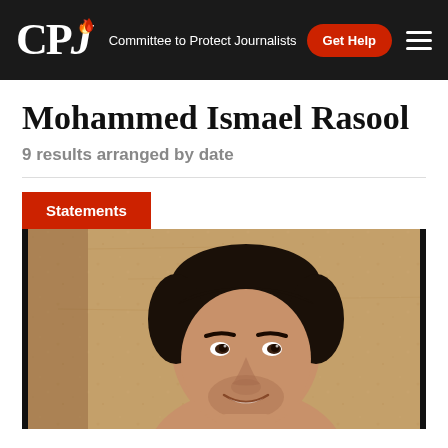CPJ — Committee to Protect Journalists | Get Help
Mohammed Ismael Rasool
9 results arranged by date
Statements
[Figure (photo): Smiling young man with dark hair and stubble, leaning against a sandy/concrete wall, looking upward and to the side]